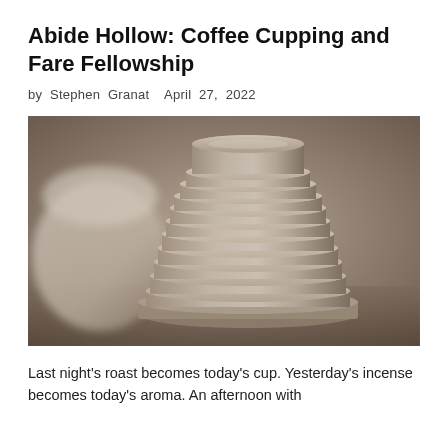Abide Hollow: Coffee Cupping and Fare Fellowship
by Stephen Granat   April 27, 2022
[Figure (photo): Close-up photo of a stack of ceramic cupping bowls/saucers in beige/taupe tones, with a coffee cup visible on the left side, soft focus background]
Last night's roast becomes today's cup. Yesterday's incense becomes today's aroma. An afternoon with